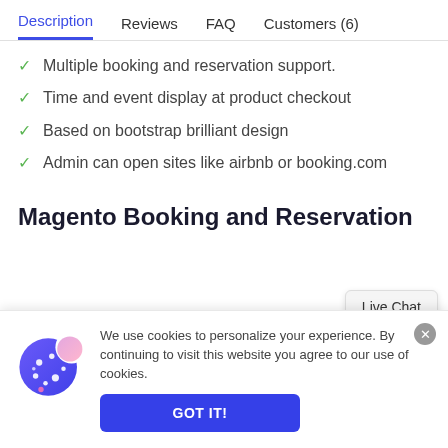Description | Reviews | FAQ | Customers (6)
Multiple booking and reservation support.
Time and event display at product checkout
Based on bootstrap brilliant design
Admin can open sites like airbnb or booking.com
Magento Booking and Reservation
Live Chat
We use cookies to personalize your experience. By continuing to visit this website you agree to our use of cookies.
GOT IT!